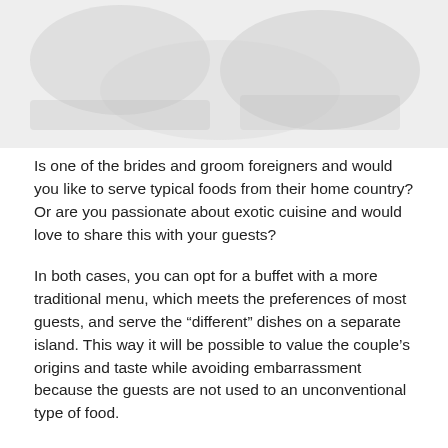[Figure (photo): Faded/washed out background photo of food or wedding setting]
Is one of the brides and groom foreigners and would you like to serve typical foods from their home country? Or are you passionate about exotic cuisine and would love to share this with your guests?
In both cases, you can opt for a buffet with a more traditional menu, which meets the preferences of most guests, and serve the “different” dishes on a separate island. This way it will be possible to value the couple’s origins and taste while avoiding embarrassment because the guests are not used to an unconventional type of food.
3. The menu should be adapted